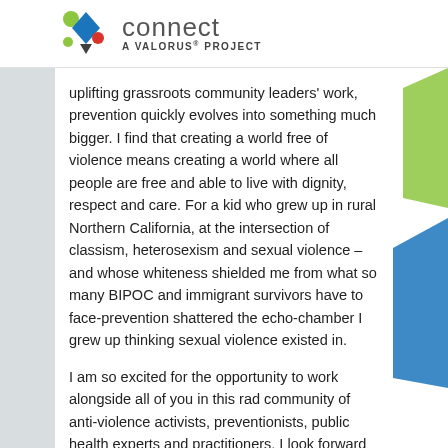connect — A ValorUS PROJECT
uplifting grassroots community leaders' work, prevention quickly evolves into something much bigger. I find that creating a world free of violence means creating a world where all people are free and able to live with dignity, respect and care. For a kid who grew up in rural Northern California, at the intersection of classism, heterosexism and sexual violence – and whose whiteness shielded me from what so many BIPOC and immigrant survivors have to face-prevention shattered the echo-chamber I grew up thinking sexual violence existed in.
I am so excited for the opportunity to work alongside all of you in this rad community of anti-violence activists, preventionists, public health experts and practitioners. I look forward to connecting with you all through our